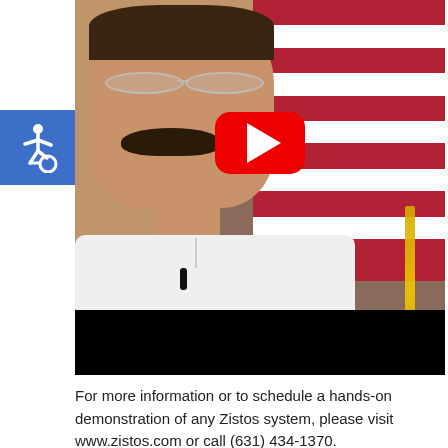[Figure (screenshot): YouTube video thumbnail showing a man with a mustache and glasses wearing a white shirt with a Z logo, seated in front of an American flag. A red YouTube play button overlay is visible in the center. A blue accessibility icon is in the upper left corner. The bottom of the video has a black bar.]
For more information or to schedule a hands-on demonstration of any Zistos system, please visit www.zistos.com or call (631) 434-1370.